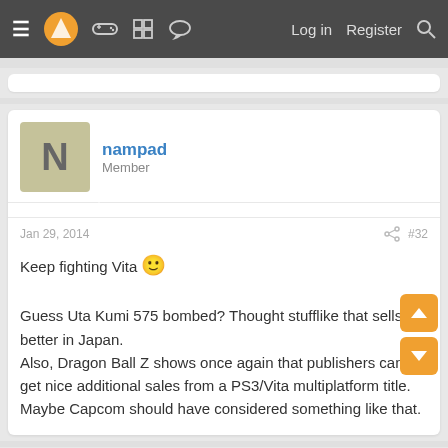≡  [logo]  [gamepad]  [grid]  [chat]   Log in   Register  [search]
nampad
Member
Jan 29, 2014  #32
Keep fighting Vita 🙂

Guess Uta Kumi 575 bombed? Thought stufflike that sells better in Japan.
Also, Dragon Ball Z shows once again that publishers can get nice additional sales from a PS3/Vita multiplatform title.
Maybe Capcom should have considered something like that.
Foshy
Member